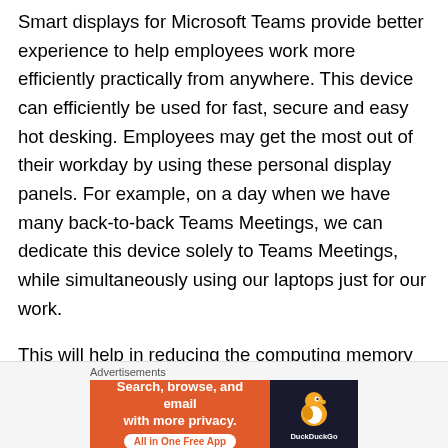Smart displays for Microsoft Teams provide better experience to help employees work more efficiently practically from anywhere. This device can efficiently be used for fast, secure and easy hot desking. Employees may get the most out of their workday by using these personal display panels. For example, on a day when we have many back-to-back Teams Meetings, we can dedicate this device solely to Teams Meetings, while simultaneously using our laptops just for our work.
This will help in reducing the computing memory CPU utilization in our laptops if we are using our laptops for any other heavy backend application or tasks that is been used for our daily operations. Having said that there are
[Figure (other): DuckDuckGo advertisement banner: orange left panel with text 'Search, browse, and email with more privacy. All in One Free App' and dark right panel with DuckDuckGo logo and duck icon.]